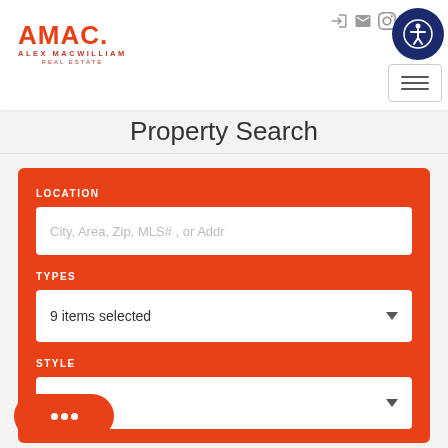[Figure (logo): AMAC Alex MacWilliam Real Estate logo in orange/red]
Property Search
LOCATION
City, Area, Zip, MLS# , or Addr
TYPES
9 items selected
STYLE